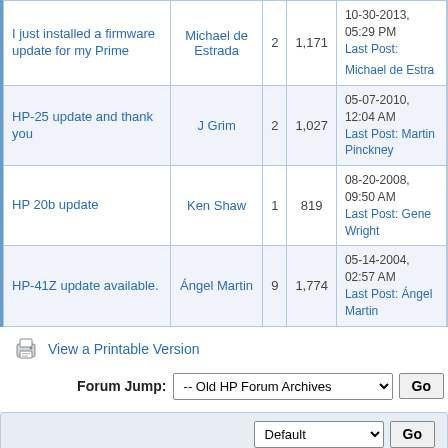| Thread | Author | Replies | Views | Last Post |
| --- | --- | --- | --- | --- |
| I just installed a firmware update for my Prime | Michael de Estrada | 2 | 1,171 | 10-30-2013, 05:29 PM
Last Post: Michael de Estrada |
| HP-25 update and thank you | J Grim | 2 | 1,027 | 05-07-2010, 12:04 AM
Last Post: Martin Pinckney |
| HP 20b update | Ken Shaw | 1 | 819 | 08-20-2008, 09:50 AM
Last Post: Gene Wright |
| HP-41Z update available. | Ángel Martin | 9 | 1,774 | 05-14-2004, 02:57 AM
Last Post: Ángel Martin |
View a Printable Version
Forum Jump: -- Old HP Forum Archives  Go
Default  Go
| HP Museum Forum Archive | Return to Top | Lite (Archive) Mode | Mark All Forums Read | RSS Syndication
Powered By MyBB, © 2002-2022 MyBB Group. Theme by: MrBrechreiz & Vintagedaddyo